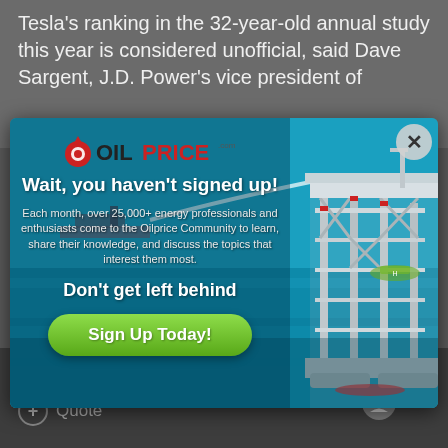Tesla's ranking in the 32-year-old annual study this year is considered unofficial, said Dave Sargent, J.D. Power's vice president of
[Figure (screenshot): OilPrice.com newsletter signup modal popup overlaid on article. Shows OilPrice logo with oil drop icon, headline 'Wait, you haven't signed up!', body text about 25,000+ energy professionals, subheadline 'Don't get left behind', and green 'Sign Up Today!' button. Background shows ocean with ship and offshore oil drilling rig.]
+ Quote